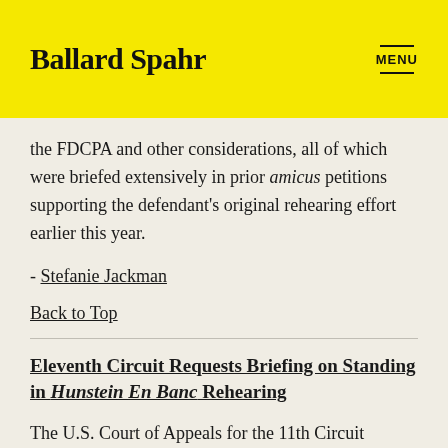Ballard Spahr  MENU
the FDCPA and other considerations, all of which were briefed extensively in prior amicus petitions supporting the defendant's original rehearing effort earlier this year.
- Stefanie Jackman
Back to Top
Eleventh Circuit Requests Briefing on Standing in Hunstein En Banc Rehearing
The U.S. Court of Appeals for the 11th Circuit ordered rehearing en banc in Hunstein v.